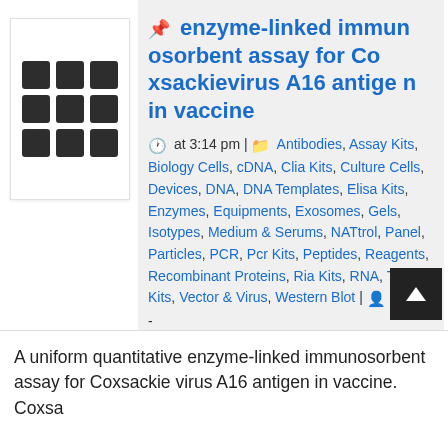[Figure (other): 3x3 grid icon in a white box with border, representing a grid/menu layout icon]
enzyme-linked immunosorbent assay for Coxsackievirus A16 antigen in vaccine
at 3:14 pm | Antibodies, Assay Kits, Biology Cells, cDNA, Clia Kits, Culture Cells, Devices, DNA, DNA Templates, Elisa Kits, Enzymes, Equipments, Exosomes, Gels, Isotypes, Medium & Serums, NATtrol, Panel, Particles, PCR, Pcr Kits, Peptides, Reagents, Recombinant Proteins, Ria Kits, RNA, Test Kits, Vector & Virus, Western Blot | Isaiah -
A uniform quantitative enzyme-linked immunosorbent assay for Coxsackievirus A16 antigen in vaccine. Coxsa...